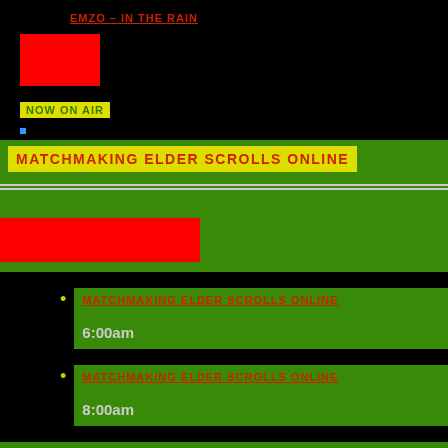EMZO – IN THE RAIN
[Figure (other): Red thumbnail image block]
NOW ON AIR
MATCHMAKING ELDER SCROLLS ONLINE
[Figure (other): Red progress bar on green background]
MATCHMAKING ELDER SCROLLS ONLINE
6:00am
MATCHMAKING ELDER SCROLLS ONLINE
8:00am